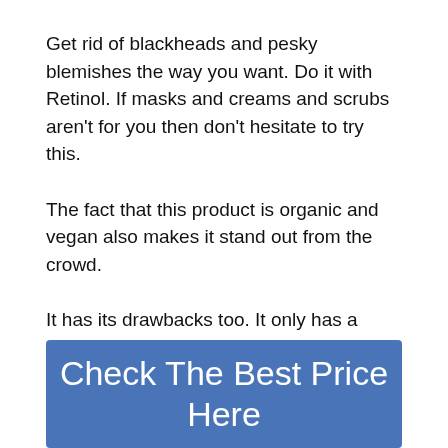Get rid of blackheads and pesky blemishes the way you want. Do it with Retinol. If masks and creams and scrubs aren't for you then don't hesitate to try this.
The fact that this product is organic and vegan also makes it stand out from the crowd.
It has its drawbacks too. It only has a dropper for application and isn't as quick acting as some of the other choices on the list.
Check The Best Price Here